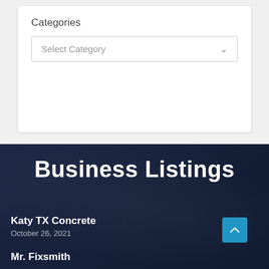Categories
Select Category
Business Listings
Katy TX Concrete
October 26, 2021
Mr. Fixsmith